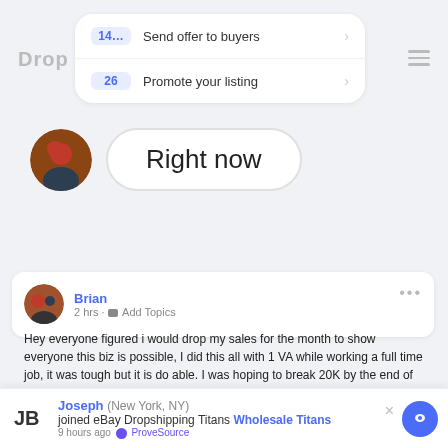[Figure (screenshot): Mobile app UI showing a menu with numbered items: 14... Send offer to buyers, 26 Promote your listing, and a 'Right now' button with user avatar]
Hey everyone figured i would drop my sales for the month to show everyone this biz is possible, I did this all with 1 VA while working a full time job, it was tough but it is do able. I was hoping to break 20K by the end of the month and just came short, Next month i will be bringing on one more VA as well as trying to reach my next goal of 50k.
$18,112.11
Joseph (New York, NY) joined eBay Dropshipping Titans Wholesale Titans 9 hours ago ProveSource